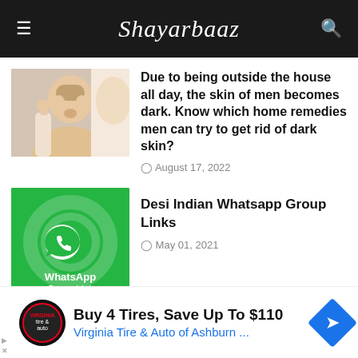Shayarbaaz
[Figure (photo): Man applying skincare product to face]
Due to being outside the house all day, the skin of men becomes dark. Know which home remedies men can try to get rid of dark skin?
August 17, 2022
[Figure (photo): WhatsApp Group Link green logo image]
Desi Indian Whatsapp Group Links
May 01, 2021
LABELS
BOLLYWOOD  50 POSTS
Buy 4 Tires, Save Up To $110  Virginia Tire & Auto of Ashburn ...